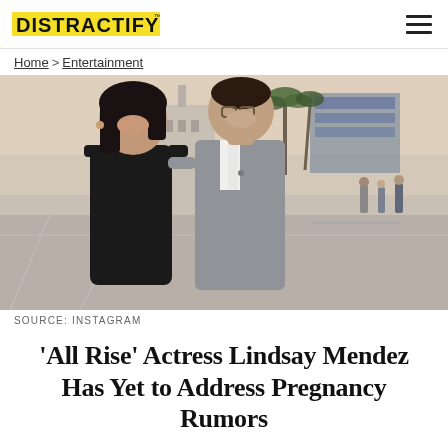DISTRACTIFY
Home > Entertainment
[Figure (photo): A smiling woman in a black dress and a smiling man in a grey suit and glasses, posing together outdoors in an urban plaza setting with palm trees and a building in the background.]
SOURCE: INSTAGRAM
'All Rise' Actress Lindsay Mendez Has Yet to Address Pregnancy Rumors